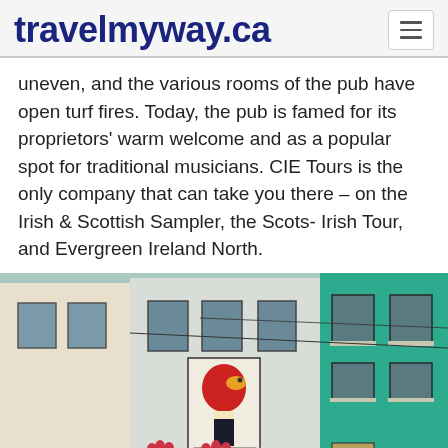travelmyway.ca
uneven, and the various rooms of the pub have open turf fires. Today, the pub is famed for its proprietors' warm welcome and as a popular spot for traditional musicians. CIE Tours is the only company that can take you there – on the Irish & Scottish Sampler, the Scots- Irish Tour, and Evergreen Ireland North.
[Figure (photo): Street view of Irish pub buildings — a white building with a Guinness toucan mural/sign and a teal/green building beside it, with windows and flower boxes.]